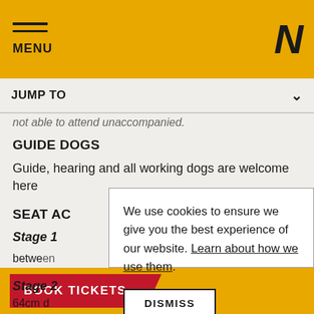MENU
JUMP TO
not able to attend unaccompanied.
GUIDE DOGS
Guide, hearing and all working dogs are welcome here
SEAT AC
Stage 1
between
seat ba
Stage 2
64cm d
We use cookies to ensure we give you the best experience of our website. Learn about how we use them.
DISMISS
BOOK TICKETS